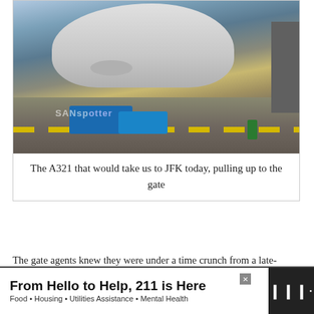[Figure (photo): An A321 aircraft at an airport gate on the tarmac, with luggage carts visible and a worker in a high-visibility vest. Watermark reads 'SANspotter'.]
The A321 that would take us to JFK today, pulling up to the gate
The gate agents knew they were under a time crunch from a late-arriving aircraft, so they made an announcement saying that they were going to expedite the boarding process this morning. I don’t really know what that meant though, since I boarded as soon as they called for first class and I have no idea how they handled they rest.
[Figure (other): Advertisement banner: 'From Hello to Help, 211 is Here' with tagline 'Food • Housing • Utilities Assistance • Mental Health' and a logo on the right.]